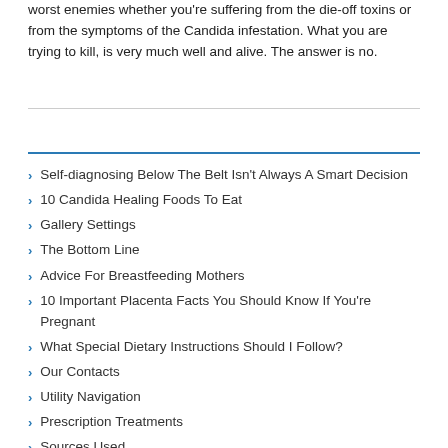worst enemies whether you're suffering from the die-off toxins or from the symptoms of the Candida infestation. What you are trying to kill, is very much well and alive. The answer is no.
Self-diagnosing Below The Belt Isn't Always A Smart Decision
10 Candida Healing Foods To Eat
Gallery Settings
The Bottom Line
Advice For Breastfeeding Mothers
10 Important Placenta Facts You Should Know If You're Pregnant
What Special Dietary Instructions Should I Follow?
Our Contacts
Utility Navigation
Prescription Treatments
Sources Used
What Causes A Yeast Infection?
Browse By Topic
Is A Yeast Infection The Same Thing As Thrush?